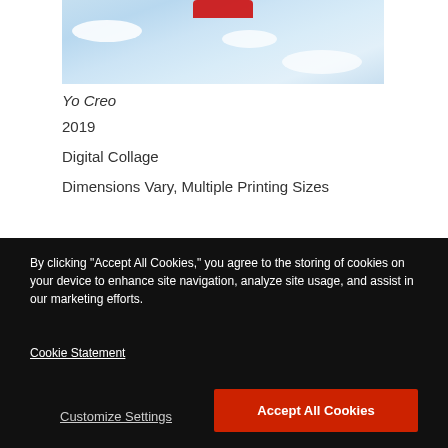[Figure (photo): Partial view of a digital collage showing a red object against a blue sky with white clouds]
Yo Creo
2019
Digital Collage
Dimensions Vary, Multiple Printing Sizes
[Figure (photo): Partial second artwork image with light beige/grey tones, partially visible]
By clicking “Accept All Cookies,” you agree to the storing of cookies on your device to enhance site navigation, analyze site usage, and assist in our marketing efforts.
Cookie Statement
Customize Settings
Accept All Cookies